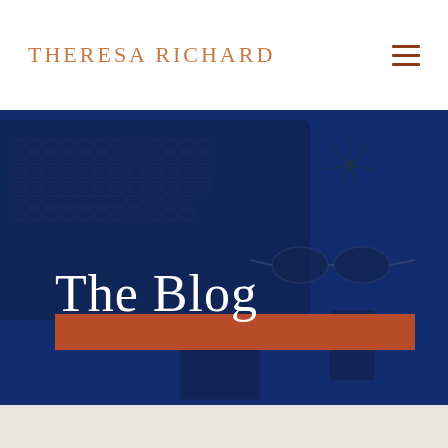THERESA RICHARD
[Figure (photo): A blue-tinted overhead photo of a laptop keyboard, sunglasses, a notebook, and a small plant on a blue desk surface, with a dark blue overlay.]
The Blog